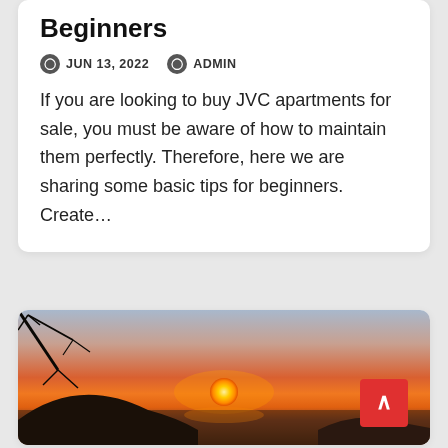Beginners
JUN 13, 2022   ADMIN
If you are looking to buy JVC apartments for sale, you must be aware of how to maintain them perfectly. Therefore, here we are sharing some basic tips for beginners. Create…
[Figure (photo): Sunset over a coastal landscape with hills/islands silhouetted against an orange-red sky, with dark tree branches visible in the upper left corner.]